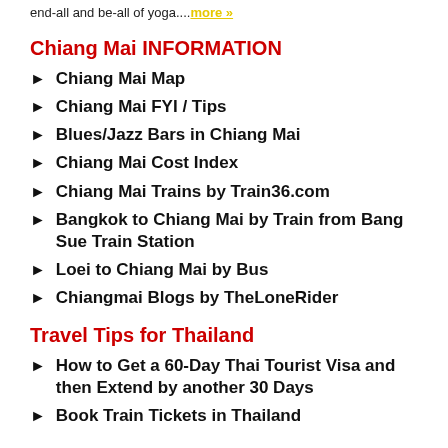end-all and be-all of yoga....more »
Chiang Mai INFORMATION
Chiang Mai Map
Chiang Mai FYI / Tips
Blues/Jazz Bars in Chiang Mai
Chiang Mai Cost Index
Chiang Mai Trains by Train36.com
Bangkok to Chiang Mai by Train from Bang Sue Train Station
Loei to Chiang Mai by Bus
Chiangmai Blogs by TheLoneRider
Travel Tips for Thailand
How to Get a 60-Day Thai Tourist Visa and then Extend by another 30 Days
Book Train Tickets in Thailand